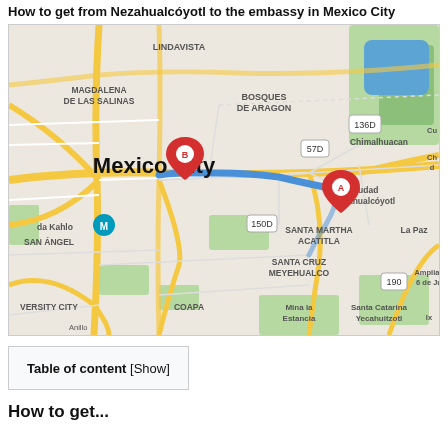How to get from Nezahualcóyotl to the embassy in Mexico City
[Figure (map): Google Maps showing route from Ciudad Nezahualcóyotl (marker A) to Mexico City (marker B). The map shows a blue route connecting the two locations, passing through Santa Martha Acatitla area. Visible neighborhoods include Lindavista, Magdalena de las Salinas, Bosques de Aragon, Chimalhuacan, Santa Martha Acatitla, Santa Cruz Meyehualco, University City, Coapa, San Angel, La Paz, and others. Highway markers 136D, 57D, 150D, 190 are visible.]
Table of content [Show]
How to get...